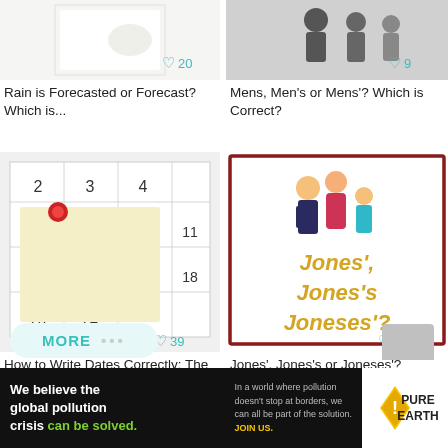[Figure (photo): Thumbnail image for article about rain forecast (blurred background, white object)]
20
Rain is Forecasted or Forecast? Which is...
[Figure (photo): Thumbnail image with silhouettes of people]
9
Mens, Men's or Mens'? Which is Correct?
[Figure (photo): Calendar with sticky note thumbnail for article about writing dates]
39
How to Write Dates Correctly: The Ultima...
[Figure (illustration): Jones', Jones's or Joneses'? illustration with cartoon family]
62
Jones', Jones's or Joneses'? Which is...
51
MORE ...
[Figure (logo): Pure Earth advertisement banner with pollution message and logo]